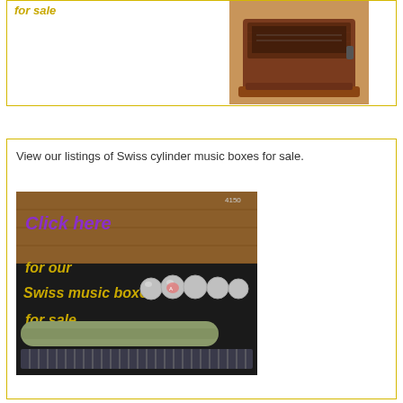[Figure (photo): Photo of an antique music box with text overlay 'for sale' in gold/yellow italic font, and an image of a wooden music box case]
View our listings of Swiss cylinder music boxes for sale.
[Figure (photo): Photo of a Swiss cylinder music box mechanism with text overlay 'Click here for our Swiss music boxes for sale' in purple and gold italic font]